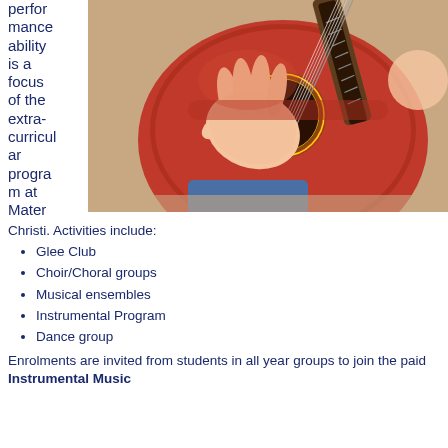performance ability is a focus of the extra-curricular program at Mater Christi. Activities include:
[Figure (photo): Close-up photo of a child's hand strumming an orange/red acoustic guitar, with another person visible in background.]
Glee Club
Choir/Choral groups
Musical ensembles
Instrumental Program
Dance group
Enrolments are invited from students in all year groups to join the paid Instrumental Music